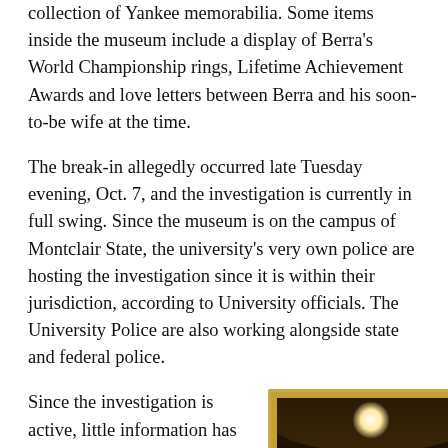collection of Yankee memorabilia. Some items inside the museum include a display of Berra's World Championship rings, Lifetime Achievement Awards and love letters between Berra and his soon-to-be wife at the time.
The break-in allegedly occurred late Tuesday evening, Oct. 7, and the investigation is currently in full swing. Since the museum is on the campus of Montclair State, the university's very own police are hosting the investigation since it is within their jurisdiction, according to University officials. The University Police are also working alongside state and federal police.
Since the investigation is active, little information has been released regarding the specific items that were stolen or how the thieves entered the museum. However, countless reports
[Figure (photo): A dark museum display sign reading 'BASEBALL'S RING LEADER — ONE PLAYER, 10 CHAMPIONSHIPS' with a gold frame and spotlight effect on a dark brown background.]